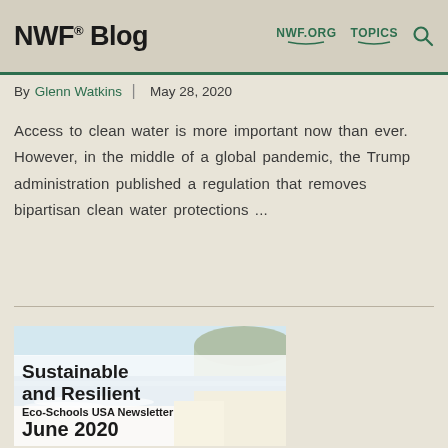NWF® Blog | NWF.ORG | TOPICS
By Glenn Watkins | May 28, 2020
Access to clean water is more important now than ever. However, in the middle of a global pandemic, the Trump administration published a regulation that removes bipartisan clean water protections ...
[Figure (other): Coastal landscape photo with overlay card reading: Sustainable and Resilient, Eco-Schools USA Newsletter, June 2020]